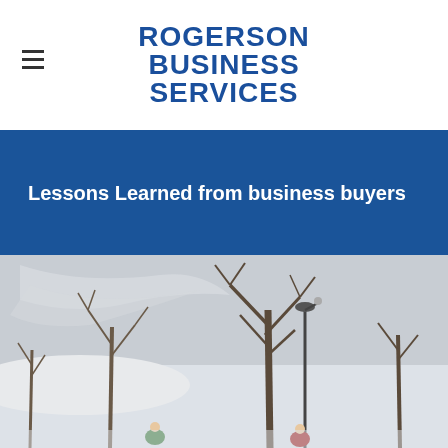ROGERSON BUSINESS SERVICES
Lessons Learned from business buyers
[Figure (photo): Winter outdoor scene with bare trees, snow-covered ground, and people visible in the foreground wearing colorful jackets, with a large snowy landscape in the background]